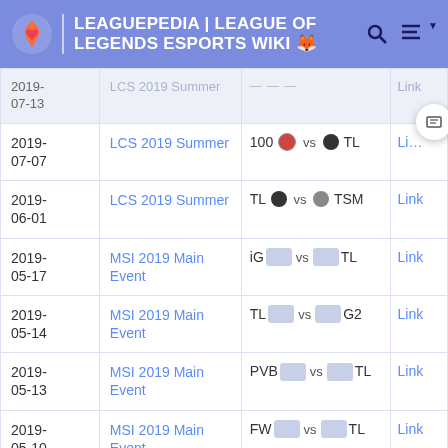LEAGUEPEDIA | LEAGUE OF LEGENDS ESPORTS WIKI
| Date | Event | Match | Link |
| --- | --- | --- | --- |
| 2019-07-13 | LCS 2019 Summer | [cut off] | Link |
| 2019-07-07 | LCS 2019 Summer | 100 vs TL | Li… |
| 2019-06-01 | LCS 2019 Summer | TL vs TSM | Link |
| 2019-05-17 | MSI 2019 Main Event | iG vs TL | Link |
| 2019-05-14 | MSI 2019 Main Event | TL vs G2 | Link |
| 2019-05-13 | MSI 2019 Main Event | PVB vs TL | Link |
| 2019-05-10 | MSI 2019 Main Event | FW vs TL | Link |